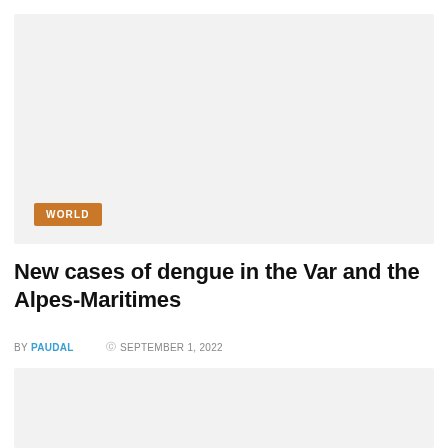[Figure (photo): Top image placeholder with light gray background and a WORLD category badge overlay]
New cases of dengue in the Var and the Alpes-Maritimes
BY PAUDAL  © SEPTEMBER 1, 2022
[Figure (photo): Bottom image placeholder with light gray background]